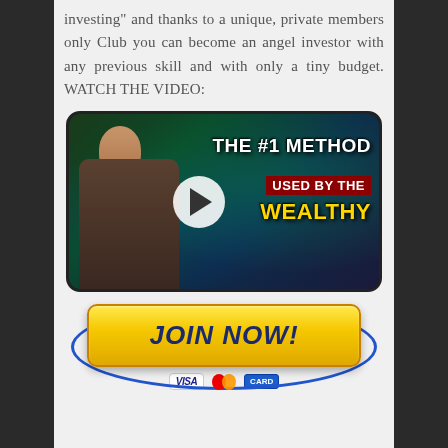investing" and thanks to a unique, private members only Club you can become an angel investor with any previous skill and with only a tiny budget. WATCH THE VIDEO:
[Figure (screenshot): Video thumbnail showing a man pointing at text overlays reading 'THE #1 METHOD USED BY THE WEALTHY' with a play button in the center, city lights background]
[Figure (infographic): Yellow JOIN NOW button with blue ellipse border and payment icons (Visa, Mastercard, credit card) below]